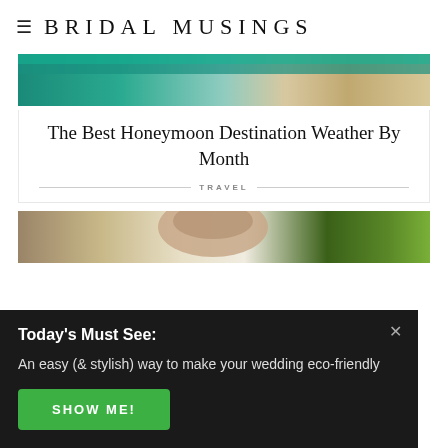BRIDAL MUSINGS
[Figure (photo): Aerial beach photo showing turquoise water and sandy shore]
The Best Honeymoon Destination Weather By Month
TRAVEL
[Figure (photo): Woman with dark hair viewed from behind, with yellow flowers and greenery]
Today's Must See:
An easy (& stylish) way to make your wedding eco-friendly
SHOW ME!